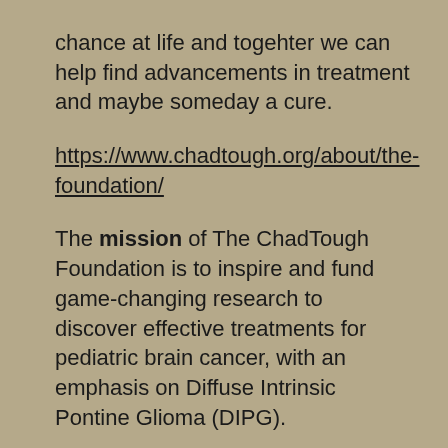chance at life and togehter we can help find advancements in treatment and maybe someday a cure.
https://www.chadtough.org/about/the-foundation/
The mission of The ChadTough Foundation is to inspire and fund game-changing research to discover effective treatments for pediatric brain cancer, with an emphasis on Diffuse Intrinsic Pontine Glioma (DIPG).
Brain cancer is killing more kids than any other type of cancer. DIPG represents 10% of all pediatric brain tumors but nearly 50% of all pediatric brain cancer deaths.
Their vision is for DIPG to no longer be a death